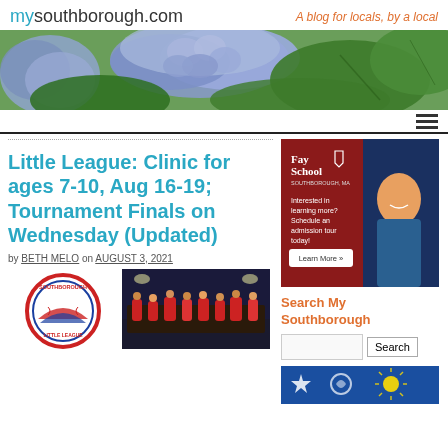mysouthborough.com — A blog for locals, by a local
[Figure (photo): Blue hydrangea flowers with green leaves — decorative header banner image]
Little League: Clinic for ages 7-10, Aug 16-19; Tournament Finals on Wednesday (Updated)
by BETH MELO on AUGUST 3, 2021
[Figure (photo): Southborough Little League logo (circular red and blue badge) and a group photo of players in red uniforms on a field at night]
[Figure (photo): Fay School advertisement: Fay School, Southborough MA — Interested in learning more? Schedule an admission tour today! Learn More button. Includes photo of smiling student.]
Search My Southborough
[Figure (other): Blue banner with star and sun icons — bottom sidebar advertisement]